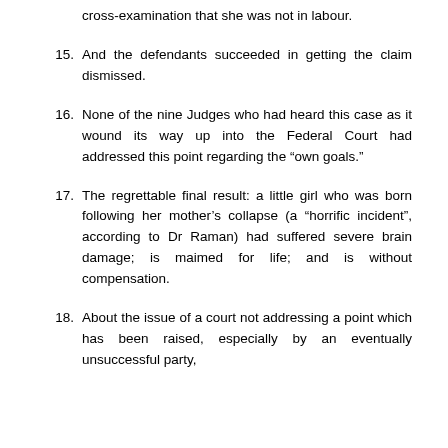cross-examination that she was not in labour.
15. And the defendants succeeded in getting the claim dismissed.
16. None of the nine Judges who had heard this case as it wound its way up into the Federal Court had addressed this point regarding the “own goals.”
17. The regrettable final result: a little girl who was born following her mother’s collapse (a “horrific incident”, according to Dr Raman) had suffered severe brain damage; is maimed for life; and is without compensation.
18. About the issue of a court not addressing a point which has been raised, especially by an eventually unsuccessful party,